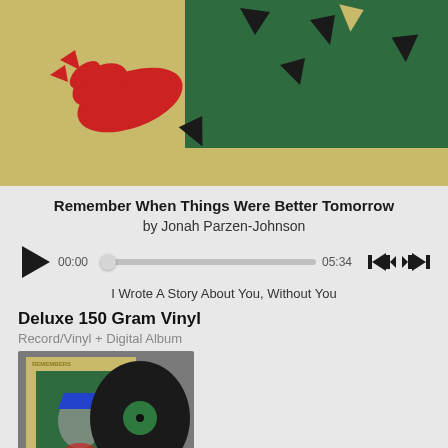[Figure (illustration): Album art for 'Remember When Things Were Better Tomorrow' - tan/gold background with green rectangle inset, featuring abstract red and black shapes scattered]
Remember When Things Were Better Tomorrow
by Jonah Parzen-Johnson
[Figure (infographic): Audio player controls: play button, time 00:00, progress slider, duration 05:34, previous and next track buttons]
I Wrote A Story About You, Without You
Deluxe 150 Gram Vinyl
Record/Vinyl + Digital Album
[Figure (photo): Photo of vinyl record album product: album sleeve with tan background and green inset art featuring illustrated figure with blue hat, with black vinyl record partially visible behind]
"Remember When Things Were Better Tomorrow" LP is pressed on 150